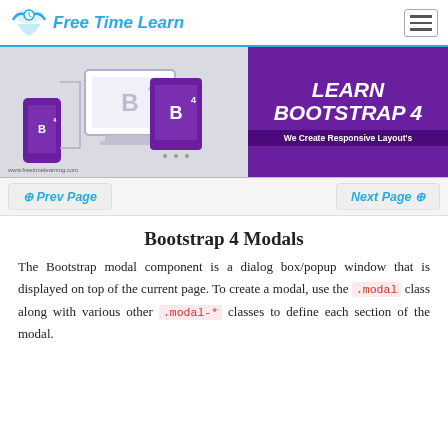Free Time Learn
[Figure (screenshot): Learn Bootstrap 4 banner with Bootstrap B4 logo icons on devices and purple background with text 'LEARN BOOTSTRAP 4 - We Create Responsive Layout's']
Prev Page   Next Page
Bootstrap 4 Modals
The Bootstrap modal component is a dialog box/popup window that is displayed on top of the current page. To create a modal, use the .modal class along with various other .modal-* classes to define each section of the modal.